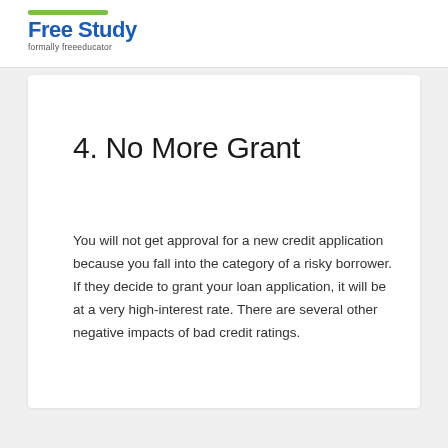Free Study — formally freeeducator
4. No More Grant
You will not get approval for a new credit application because you fall into the category of a risky borrower. If they decide to grant your loan application, it will be at a very high-interest rate. There are several other negative impacts of bad credit ratings.
Read More: to Check how our President Self for...